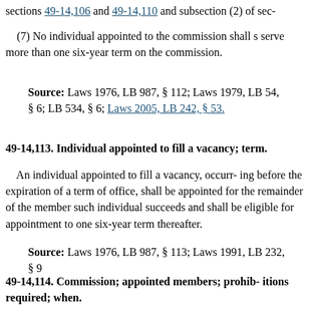sections 49-14,106 and 49-14,110 and subsection (2) of sec-
(7) No individual appointed to the commission shall serve more than one six-year term on the commission.
Source: Laws 1976, LB 987, § 112; Laws 1979, LB 54, § 6; LB 534, § 6; Laws 2005, LB 242, § 53.
49-14,113. Individual appointed to fill a vacancy; term.
An individual appointed to fill a vacancy, occurring before the expiration of a term of office, shall be appointed for the remainder of the member such individual succeeds and shall be eligible for appointment to one six-year term thereafter.
Source: Laws 1976, LB 987, § 113; Laws 1991, LB 232, § 9
49-14,114. Commission; appointed members; prohibitions required; when.